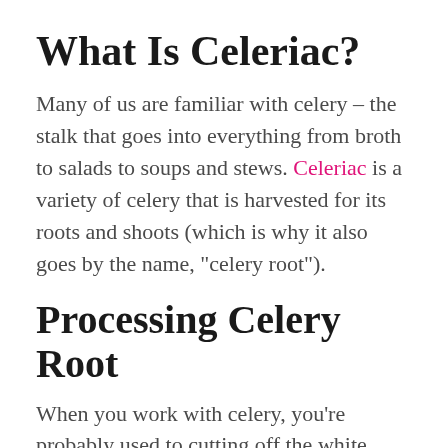What Is Celeriac?
Many of us are familiar with celery – the stalk that goes into everything from broth to salads to soups and stews. Celeriac is a variety of celery that is harvested for its roots and shoots (which is why it also goes by the name, “celery root”).
Processing Celery Root
When you work with celery, you’re probably used to cutting off the white bottoms and discarding them. This time